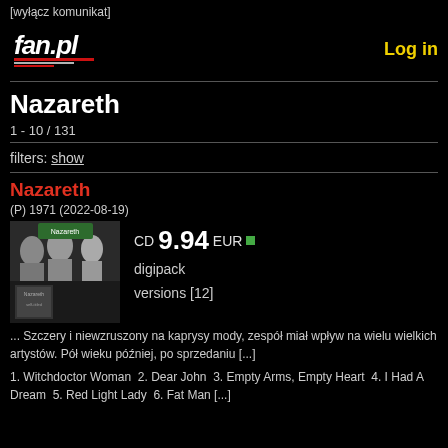[wyłącz komunikat]
[Figure (logo): fan.pl logo with stylized text and red/white stripes]
Log in
Nazareth
1 - 10 / 131
filters: show
Nazareth
(P) 1971 (2022-08-19)
[Figure (photo): Album cover for Nazareth self-titled album showing black and white photo of band members]
CD 9.94 EUR  digipack  versions [12]
... Szczery i niewzruszony na kaprysy mody, zespół miał wpływ na wielu wielkich artystów. Pół wieku później, po sprzedaniu [...]
1. Witchdoctor Woman  2. Dear John  3. Empty Arms, Empty Heart  4. I Had A Dream  5. Red Light Lady  6. Fat Man [...]